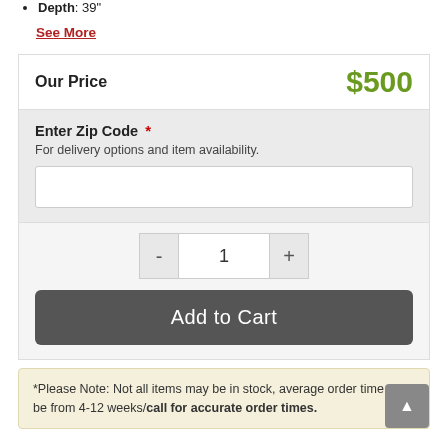Depth: 39"
See More
| Our Price | $500 |
| --- | --- |
Enter Zip Code *
For delivery options and item availability.
[zip code input field]
- 1 +
Add to Cart
*Please Note: Not all items may be in stock, average order time can be from 4-12 weeks/call for accurate order times.